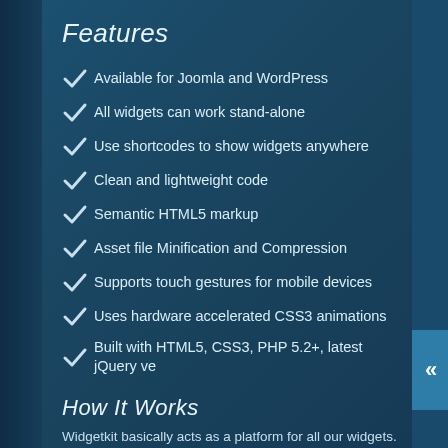Features
Available for Joomla and WordPress
All widgets can work stand-alone
Use shortcodes to show widgets anywhere
Clean and lightweight code
Semantic HTML5 markup
Asset file Minification and Compression
Supports touch gestures for mobile devices
Uses hardware accelerated CSS3 animations
Built with HTML5, CSS3, PHP 5.2+, latest jQuery ve
How It Works
Widgetkit basically acts as a platform for all our widgets. WordPress. The Widgetkit dashboard presents you an o